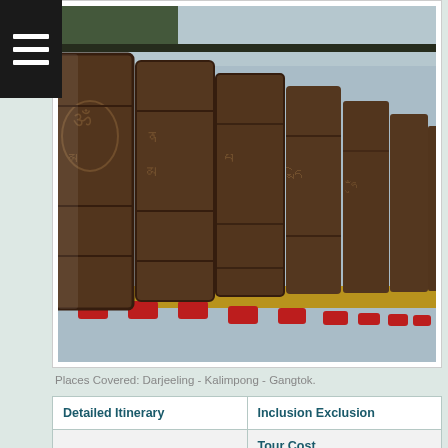[Figure (photo): Row of Tibetan/Buddhist prayer wheels with carved Sanskrit inscriptions, mounted on a yellow and red base, photographed in perspective]
Places Covered: Darjeeling - Kalimpong - Gangtok.
| Detailed Itinerary | Inclusion Exclusion |
| --- | --- |
|  | Tour Cost |
| Terms & Conditions |  |
| DAY 1: Arrival at Darjeeling |  |
DAY 1: Arrival at Darjeeling